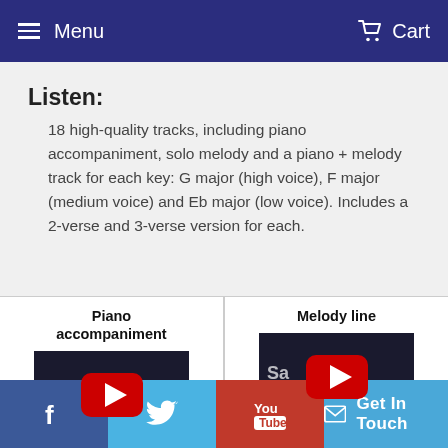Menu   Cart
Listen:
18 high-quality tracks, including piano accompaniment, solo melody and a piano + melody track for each key: G major (high voice), F major (medium voice) and Eb major (low voice). Includes a 2-verse and 3-verse version for each.
[Figure (screenshot): Piano accompaniment YouTube video thumbnail with play button]
[Figure (screenshot): Melody line YouTube video thumbnail with play button]
Facebook  Twitter  YouTube  Get In Touch